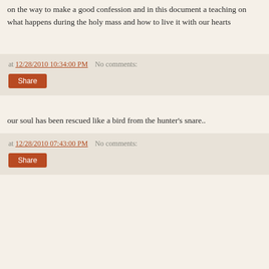on the way to make a good confession and in this document a teaching on what happens during the holy mass and how to live it with our hearts
at 12/28/2010 10:34:00 PM   No comments:
Share
our soul has been rescued like a bird from the hunter's snare..
at 12/28/2010 07:43:00 PM   No comments:
Share